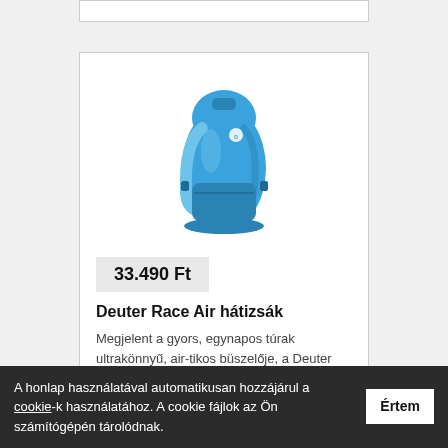[Figure (photo): Blue Deuter Race Air backpack product photo on white background]
33.490 Ft
Deuter Race Air hátizsák
Megjelent a gyors, egynapos túrak ultrakönnyű, air-tikos büszelője, a Deuter Race Air. A Deuter Aircomfort FlexiLite
A honlap használatával automatikusan hozzájárul a cookie-k használatához. A cookie fájlok az Ön számítógépén tárolódnak.